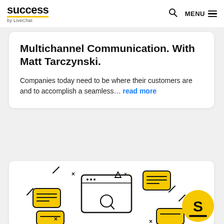success by LiveChat — MENU
Multichannel Communication. With Matt Tarczynski.
Companies today need to be where their customers are and to accomplish a seamless… read more
[Figure (illustration): Partial view of a card with a black-and-white illustration featuring browser window, chat icons, and a yellow circle with letter S logo, in a doodle/sketch style.]